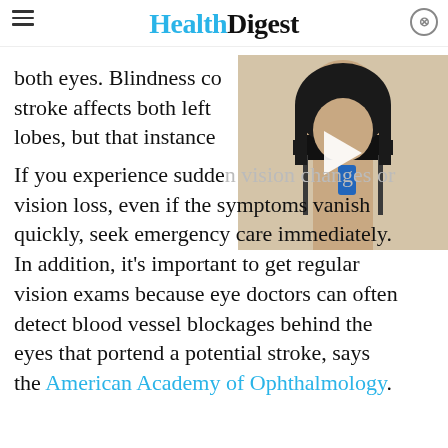Health Digest
both eyes. Blindness co... stroke affects both left... lobes, but that instance...
[Figure (photo): Woman talking on phone, partially obscured by video overlay with play button]
If you experience sudden vision changes or vision loss, even if the symptoms vanish quickly, seek emergency care immediately. In addition, it's important to get regular vision exams because eye doctors can often detect blood vessel blockages behind the eyes that portend a potential stroke, says the American Academy of Ophthalmology.
[Figure (other): BitLife advertisement banner with cartoon emojis and 'REAL CHOICES' text on red background]